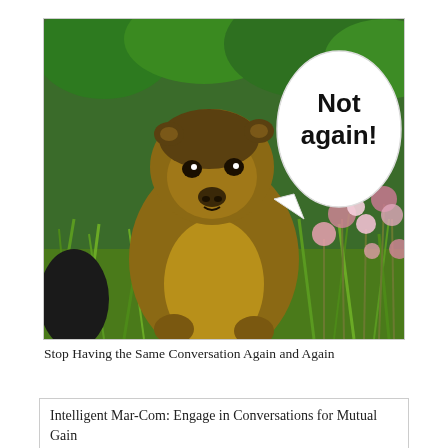[Figure (photo): A marmot (groundhog) sitting in a meadow with green grass and pink wildflowers, with a speech bubble saying 'Not again!']
Stop Having the Same Conversation Again and Again
Intelligent Mar-Com: Engage in Conversations for Mutual Gain